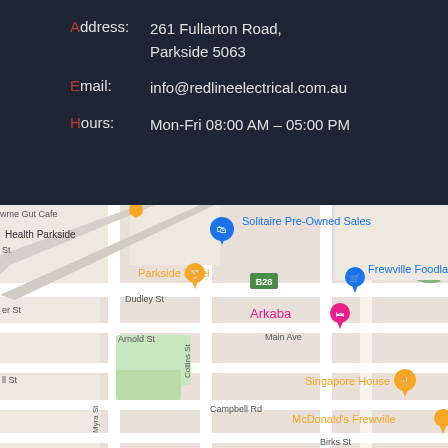Address: 261 Fullarton Road, Parkside 5063
Email: info@redlineelectrical.com.au
Hours: Mon-Fri 08:00 AM – 05:00 PM
[Figure (map): Google Maps showing area around 261 Fullarton Road, Parkside 5063, with landmarks including Solitaire Pre-Owned Sales, Parkside Hotel, Frewville Foodland, Arkaba, Singapore House, McDonald's Frewville, streets including Dudley St, Arnold St, Campbell Rd, Collins St, Myra St, Birks St, Main Ave]